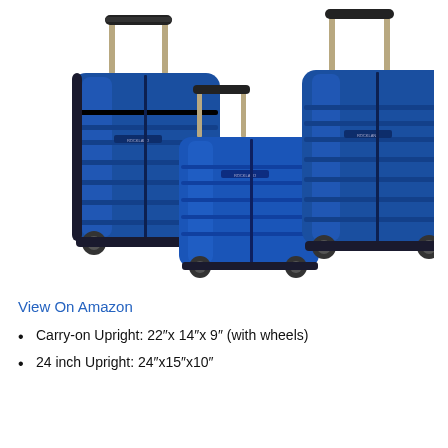[Figure (photo): Three blue hardshell spinner luggage suitcases of different sizes (carry-on, medium 24-inch, and large) arranged together on a white background. The luggage is metallic blue with horizontal ribbing and telescoping handles.]
View On Amazon
Carry-on Upright: 22″x 14″x 9″ (with wheels)
24 inch Upright: 24″x15″x10″